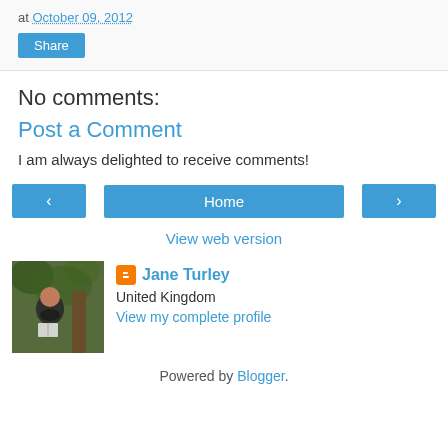at October 09, 2012
Share
No comments:
Post a Comment
I am always delighted to receive comments!
‹  Home  ›
View web version
[Figure (photo): Profile photo of Jane Turley, a woman standing outdoors near a tree, holding a book]
Jane Turley
United Kingdom
View my complete profile
Powered by Blogger.